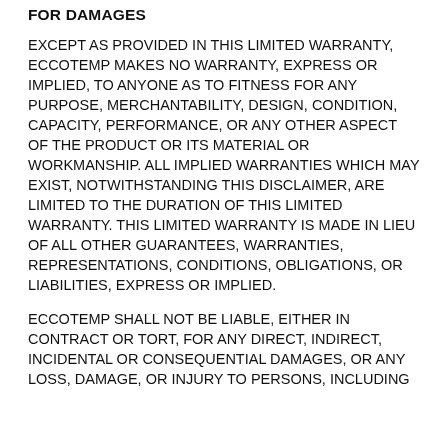FOR DAMAGES
EXCEPT AS PROVIDED IN THIS LIMITED WARRANTY, ECCOTEMP MAKES NO WARRANTY, EXPRESS OR IMPLIED, TO ANYONE AS TO FITNESS FOR ANY PURPOSE, MERCHANTABILITY, DESIGN, CONDITION, CAPACITY, PERFORMANCE, OR ANY OTHER ASPECT OF THE PRODUCT OR ITS MATERIAL OR WORKMANSHIP. ALL IMPLIED WARRANTIES WHICH MAY EXIST, NOTWITHSTANDING THIS DISCLAIMER, ARE LIMITED TO THE DURATION OF THIS LIMITED WARRANTY. THIS LIMITED WARRANTY IS MADE IN LIEU OF ALL OTHER GUARANTEES, WARRANTIES, REPRESENTATIONS, CONDITIONS, OBLIGATIONS, OR LIABILITIES, EXPRESS OR IMPLIED.
ECCOTEMP SHALL NOT BE LIABLE, EITHER IN CONTRACT OR TORT, FOR ANY DIRECT, INDIRECT, INCIDENTAL OR CONSEQUENTIAL DAMAGES, OR ANY LOSS, DAMAGE, OR INJURY TO PERSONS, INCLUDING